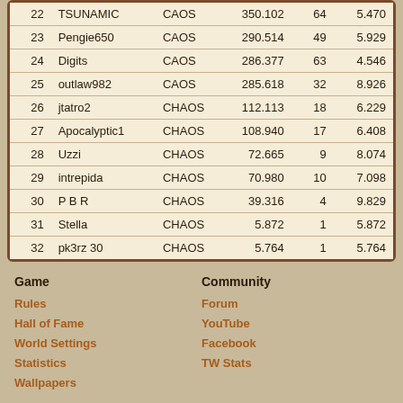| # | Player | Alliance | Points | Villages | Avg |
| --- | --- | --- | --- | --- | --- |
| 22 | TSUNAMIC | CAOS | 350.102 | 64 | 5.470 |
| 23 | Pengie650 | CAOS | 290.514 | 49 | 5.929 |
| 24 | Digits | CAOS | 286.377 | 63 | 4.546 |
| 25 | outlaw982 | CAOS | 285.618 | 32 | 8.926 |
| 26 | jtatro2 | CHAOS | 112.113 | 18 | 6.229 |
| 27 | Apocalyptic1 | CHAOS | 108.940 | 17 | 6.408 |
| 28 | Uzzi | CHAOS | 72.665 | 9 | 8.074 |
| 29 | intrepida | CHAOS | 70.980 | 10 | 7.098 |
| 30 | P B R | CHAOS | 39.316 | 4 | 9.829 |
| 31 | Stella | CHAOS | 5.872 | 1 | 5.872 |
| 32 | pk3rz 30 | CHAOS | 5.764 | 1 | 5.764 |
Game
Rules
Hall of Fame
World Settings
Statistics
Wallpapers
Community
Forum
YouTube
Facebook
TW Stats
Help & Support
Team